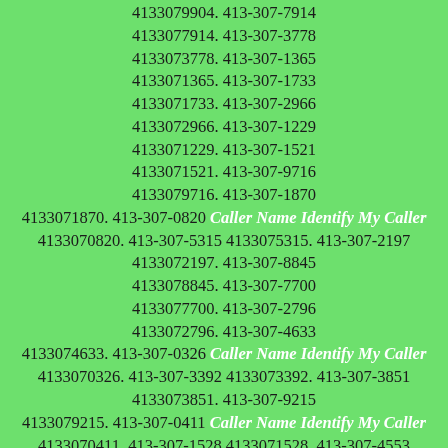4133079904. 413-307-7914 4133077914. 413-307-3778 4133073778. 413-307-1365 4133071365. 413-307-1733 4133071733. 413-307-2966 4133072966. 413-307-1229 4133071229. 413-307-1521 4133071521. 413-307-9716 4133079716. 413-307-1870 4133071870. 413-307-0820 Caller Name Identify My Caller 4133070820. 413-307-5315 4133075315. 413-307-2197 4133072197. 413-307-8845 4133078845. 413-307-7700 4133077700. 413-307-2796 4133072796. 413-307-4633 4133074633. 413-307-0326 Caller Name Identify My Caller 4133070326. 413-307-3392 4133073392. 413-307-3851 4133073851. 413-307-9215 4133079215. 413-307-0411 Caller Name Identify My Caller 4133070411. 413-307-1528 4133071528. 413-307-4553 4133074553. 413-307-1479 4133071479. 413-307-9236